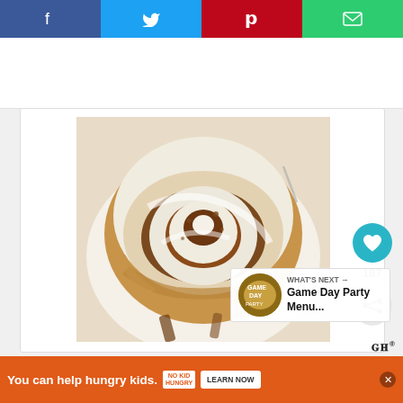[Figure (other): Social media share bar with Facebook (blue-purple), Twitter (blue), Pinterest (red), and Email (green) buttons with icons]
[Figure (photo): Close-up photo of a frosted cinnamon roll on a white plate, showing swirled cinnamon filling with white cream cheese icing on top]
187
WHAT'S NEXT → Game Day Party Menu...
You can help hungry kids. NO KID HUNGRY LEARN NOW